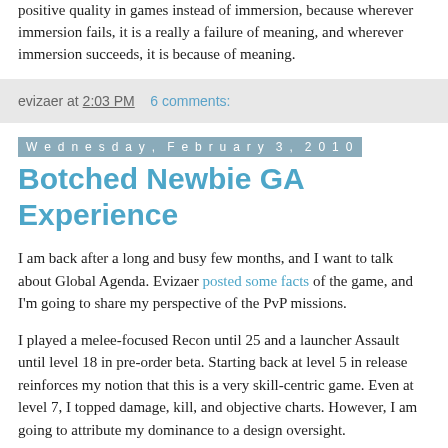positive quality in games instead of immersion, because wherever immersion fails, it is a really a failure of meaning, and wherever immersion succeeds, it is because of meaning.
evizaer at 2:03 PM    6 comments:
Wednesday, February 3, 2010
Botched Newbie GA Experience
I am back after a long and busy few months, and I want to talk about Global Agenda. Evizaer posted some facts of the game, and I'm going to share my perspective of the PvP missions.
I played a melee-focused Recon until 25 and a launcher Assault until level 18 in pre-order beta. Starting back at level 5 in release reinforces my notion that this is a very skill-centric game. Even at level 7, I topped damage, kill, and objective charts. However, I am going to attribute my dominance to a design oversight.